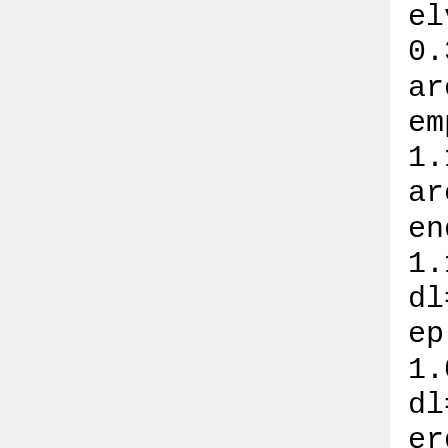elvbot.ElverionBot
0.3,http://robocode-archive.strangeautomata.com/rob
emp.Yngwie
1.11,http://robocode-archive.strangeautomata.com/rob
ender.EnderRobot
1.1,https://dl.dropbox.com/s/iw
dl=0
ep.MyFirstRobot
1.0,https://www.dropbox.com/s/i
dl=1
erdnis.Rover
0.3,http://www.free-games-fun.com/erdnis.Rover_0.3.jar
eskimo.micro.Echo
0.1,http://robocode-archive.strangeautomata.com/rob
et.Predator
1.8,http://robocode-archive.strangeautomata.com/rob
ethdsy.Malacka
2.4,http://robocode-archive.strangeautomata.com/rob
etienne72230.Wall street